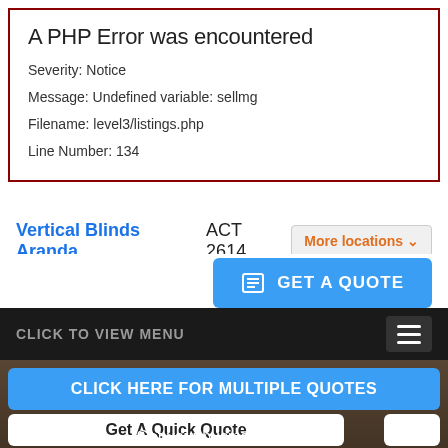A PHP Error was encountered
Severity: Notice
Message: Undefined variable: sellmg
Filename: level3/listings.php
Line Number: 134
Vertical Blinds Aranda ACT 2614
More locations ∨
GET A QUOTE
CLICK TO VIEW MENU
CLICK HERE FOR MULTIPLE QUOTES
Get A Quick Quote
Get your business listed!